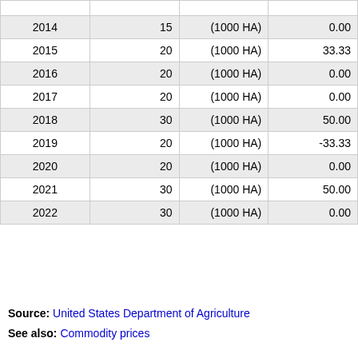| Year | Value | Unit | % Change |
| --- | --- | --- | --- |
| 2014 | 15 | (1000 HA) | 0.00 |
| 2015 | 20 | (1000 HA) | 33.33 |
| 2016 | 20 | (1000 HA) | 0.00 |
| 2017 | 20 | (1000 HA) | 0.00 |
| 2018 | 30 | (1000 HA) | 50.00 |
| 2019 | 20 | (1000 HA) | -33.33 |
| 2020 | 20 | (1000 HA) | 0.00 |
| 2021 | 30 | (1000 HA) | 50.00 |
| 2022 | 30 | (1000 HA) | 0.00 |
Source: United States Department of Agriculture
See also: Commodity prices